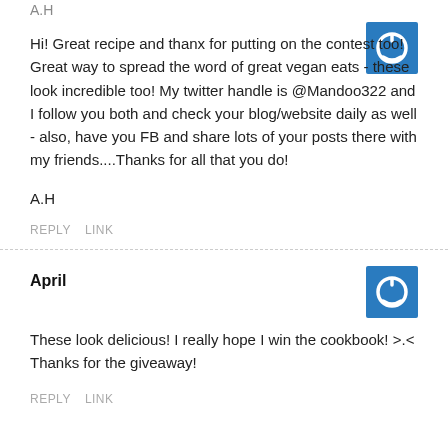A.H
Hi! Great recipe and thanx for putting on the contest too! Great way to spread the word of great vegan eats - these look incredible too! My twitter handle is @Mandoo322 and I follow you both and check your blog/website daily as well - also, have you FB and share lots of your posts there with my friends....Thanks for all that you do!
A.H
REPLY   LINK
April
These look delicious! I really hope I win the cookbook! >.< Thanks for the giveaway!
REPLY   LINK